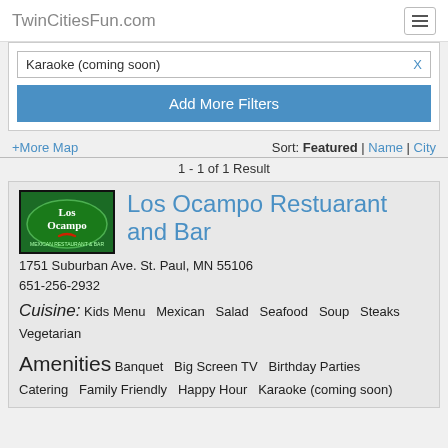TwinCitiesFun.com
Karaoke (coming soon)
Add More Filters
+More Map | Sort: Featured | Name | City
1 - 1 of 1 Result
Los Ocampo Restuarant and Bar
1751 Suburban Ave. St. Paul, MN 55106
651-256-2932
Cuisine: Kids Menu  Mexican  Salad  Seafood  Soup  Steaks  Vegetarian
Amenities Banquet  Big Screen TV  Birthday Parties  Catering  Family Friendly  Happy Hour  Karaoke (coming soon)